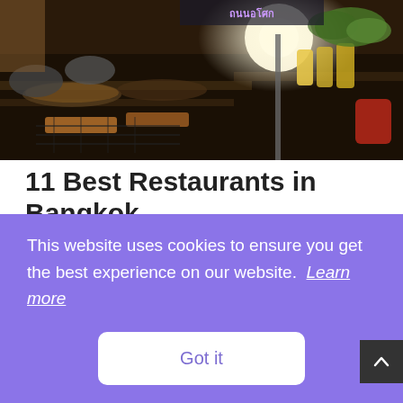[Figure (photo): Busy Bangkok street food market at night with various grilled and cooked dishes displayed on stalls, produce and vegetables visible, bright overhead light.]
11 Best Restaurants in Bangkok
Find out the best places to eat and drink in the bustling city of Bangkok. Excellent Bangkok Restaurants abound and...
This website uses cookies to ensure you get the best experience on our website. Learn more
Got it